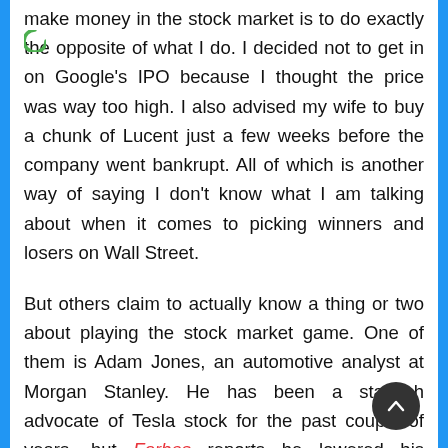make money in the stock market is to do exactly the opposite of what I do. I decided not to get in on Google's IPO because I thought the price was way too high. I also advised my wife to buy a chunk of Lucent just a few weeks before the company went bankrupt. All of which is another way of saying I don't know what I am talking about when it comes to picking winners and losers on Wall Street.

But others claim to actually know a thing or two about playing the stock market game. One of them is Adam Jones, an automotive analyst at Morgan Stanley. He has been a staunch advocate of Tesla stock for the past couple of years, but Forbes reports he lowered his estimate for its target price this week because he says Tesla will not meet its sales forecasts. Elon Musk has